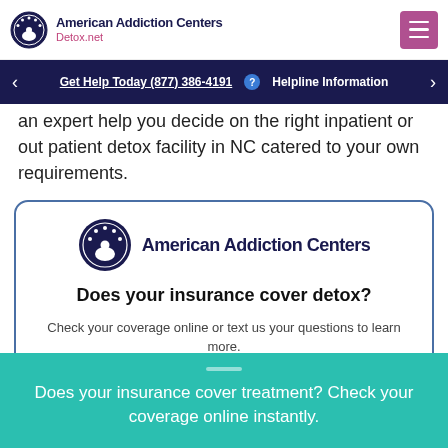American Addiction Centers Detox.net
Get Help Today (877) 386-4191  Helpline Information
an expert help you decide on the right inpatient or out patient detox facility in NC catered to your own requirements.
[Figure (logo): American Addiction Centers logo with circular emblem and text]
Does your insurance cover detox?
Check your coverage online or text us your questions to learn more.
Does your insurance cover treatment? Check your coverage online instantly.